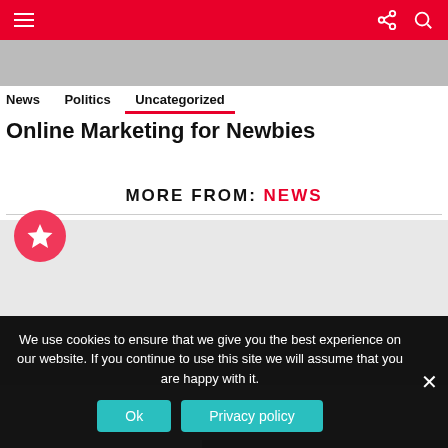Menu | Share | Search
[Figure (photo): Partial image strip at top of page, partially visible]
News
Politics
Uncategorized
Online Marketing for Newbies
MORE FROM: NEWS
[Figure (illustration): Card area with pink star icon on grey background, split image placeholder]
We use cookies to ensure that we give you the best experience on our website. If you continue to use this site we will assume that you are happy with it.